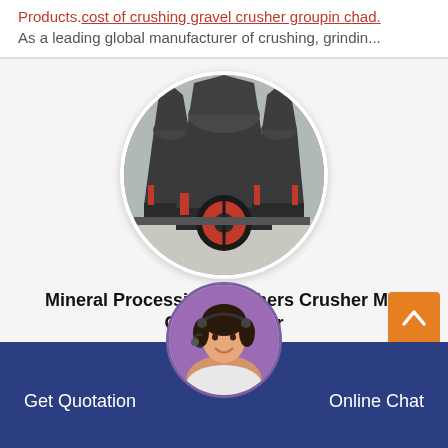Products.cost of crushing gravel crusher groupin chad. As a leading global manufacturer of crushing, grindin...
[Figure (photo): Circular photo of industrial cone crushers (mineral processing machinery) in a factory setting. Multiple large dark-colored cone crusher units visible on metal frames with red components.]
Mineral Processing Crushers Crusher Mill Cone Crusher
Get Quotation
[Figure (photo): Circular avatar photo of a smiling woman wearing a headset, representing a customer service agent.]
Online Chat